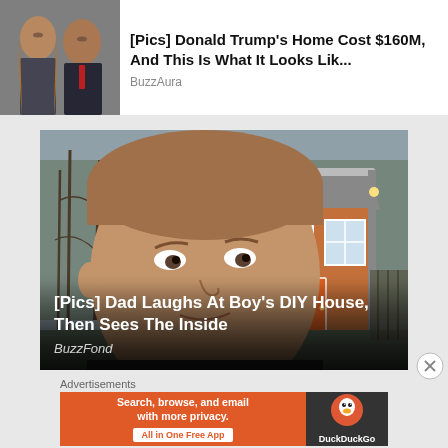[Figure (photo): Photo of a couple (man and woman) used as thumbnail for article about Donald Trump's home]
[Pics] Donald Trump's Home Cost $160M, And This Is What It Looks Lik...
BuzzAura
[Figure (photo): Young man taking selfie in front of a small DIY wooden house with orange door, used as article thumbnail]
[Pics] Dad Laughs At Boy's DIY House, Then Sees The Inside
BuzzFond
Advertisements
[Figure (screenshot): DuckDuckGo advertisement banner: Search, browse, and email with more privacy. All in One Free App. DuckDuckGo logo on right side.]